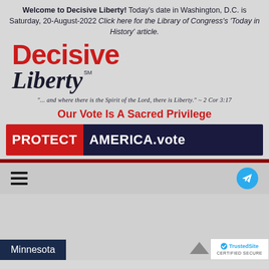Welcome to Decisive Liberty! Today's date in Washington, D.C. is Saturday, 20-August-2022 Click here for the Library of Congress's 'Today in History' article.
[Figure (logo): Decisive Liberty logo with red 'Decisive' text and dark blue gothic 'Liberty' text with SM mark]
"... and where there is the Spirit of the Lord, there is Liberty." ~ 2 Cor 3:17
Our Vote Is A Sacred Privilege
[Figure (other): PROTECTAMERICA.vote banner with red left panel showing PROTECT and dark blue right panel showing AMERICA.vote]
[Figure (other): Navigation bar with hamburger menu icon on left and Telegram button on right]
Minnesota
[Figure (other): TrustedSite Certified Secure badge]